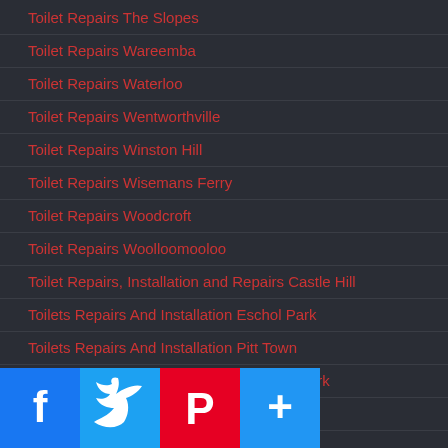Toilet Repairs The Slopes
Toilet Repairs Wareemba
Toilet Repairs Waterloo
Toilet Repairs Wentworthville
Toilet Repairs Winston Hill
Toilet Repairs Wisemans Ferry
Toilet Repairs Woodcroft
Toilet Repairs Woolloomooloo
Toilet Repairs, Installation and Repairs Castle Hill
Toilets Repairs And Installation Eschol Park
Toilets Repairs And Installation Pitt Town
Toilets Repairs And Installation St Johns Park
Toilets Repairs Balmoral
Toilets Repairs Belmore
Toilets Repairs Chatswood
Toilets Repairs Chowder Bay
Toilets Repairs Collaroy
Toilets Repairs Cromer